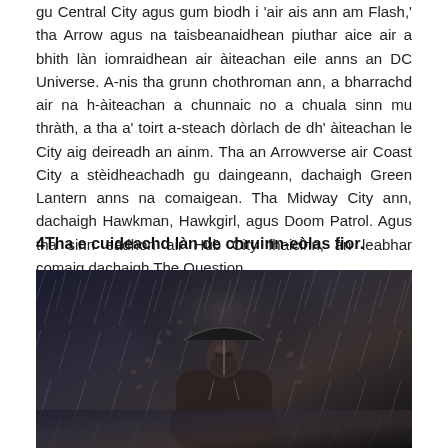gu Central City agus gum biodh i 'air ais ann am Flash,' tha Arrow agus na taisbeanaidhean piuthar aice air a bhith làn iomraidhean air àiteachan eile anns an DC Universe. A-nis tha grunn chothroman ann, a bharrachd air na h-àiteachan a chunnaic no a chuala sinn mu thràth, a tha a' toirt a-steach dòrlach de dh'àiteachan le City aig deireadh an ainm. Tha an Arrowverse air Coast City a stèidheachadh gu daingeann, dachaigh Green Lantern anns na comaigean. Tha Midway City ann, dachaigh Hawkman, Hawkgirl, agus Doom Patrol. Agus tha sinn eadhon air Hub City fhaicinn, an leabhar comaig dachaigh The Question.
4Tha e cuideachd làn de chruinn-eòlas fior.
[Figure (photo): Dark moody promotional photo of a bearded man in a suit holding an umbrella in the rain, with debris/shards flying around him, in black and white style.]